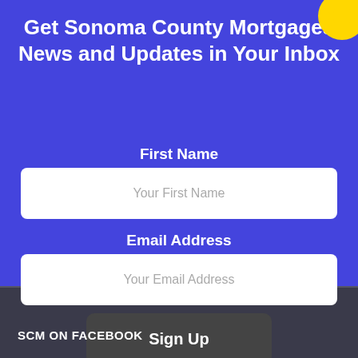Get Sonoma County Mortgages News and Updates in Your Inbox
First Name
Your First Name
Email Address
Your Email Address
Sign Up
SCM ON FACEBOOK